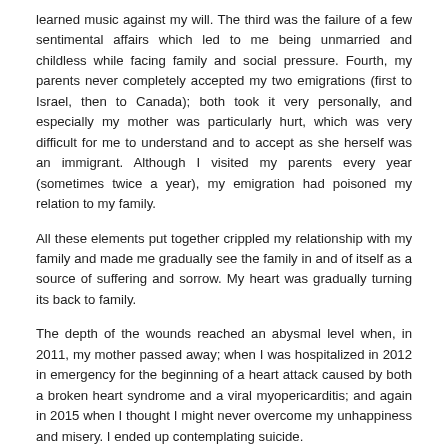learned music against my will. The third was the failure of a few sentimental affairs which led to me being unmarried and childless while facing family and social pressure. Fourth, my parents never completely accepted my two emigrations (first to Israel, then to Canada); both took it very personally, and especially my mother was particularly hurt, which was very difficult for me to understand and to accept as she herself was an immigrant. Although I visited my parents every year (sometimes twice a year), my emigration had poisoned my relation to my family.
All these elements put together crippled my relationship with my family and made me gradually see the family in and of itself as a source of suffering and sorrow. My heart was gradually turning its back to family.
The depth of the wounds reached an abysmal level when, in 2011, my mother passed away; when I was hospitalized in 2012 in emergency for the beginning of a heart attack caused by both a broken heart syndrome and a viral myopericarditis; and again in 2015 when I thought I might never overcome my unhappiness and misery. I ended up contemplating suicide.